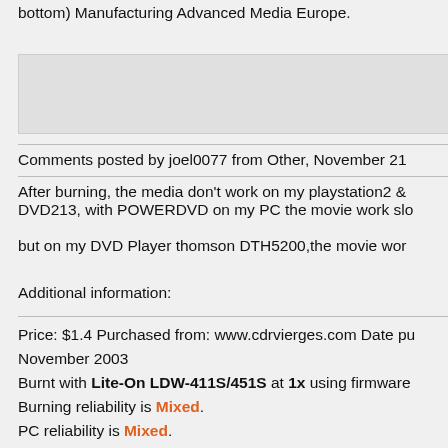bottom) Manufacturing Advanced Media Europe.
Comments posted by joel0077 from Other, November 21
After burning, the media don't work on my playstation2 & DVD213, with POWERDVD on my PC the movie work slo

but on my DVD Player thomson DTH5200,the movie wor
Additional information:
Price: $1.4 Purchased from: www.cdrvierges.com Date pu November 2003
Burnt with Lite-On LDW-411S/451S at 1x using firmware
Burning reliability is Mixed.
PC reliability is Mixed.
DVD reliability is Mixed.
Console reliability is Poor.